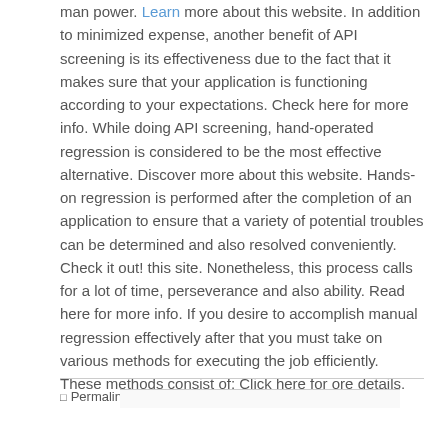man power. Learn more about this website. In addition to minimized expense, another benefit of API screening is its effectiveness due to the fact that it makes sure that your application is functioning according to your expectations. Check here for more info. While doing API screening, hand-operated regression is considered to be the most effective alternative. Discover more about this website. Hands-on regression is performed after the completion of an application to ensure that a variety of potential troubles can be determined and also resolved conveniently. Check it out! this site. Nonetheless, this process calls for a lot of time, perseverance and also ability. Read here for more info. If you desire to accomplish manual regression effectively after that you must take on various methods for executing the job efficiently. These methods consist of: Click here for ore details.
Permalink